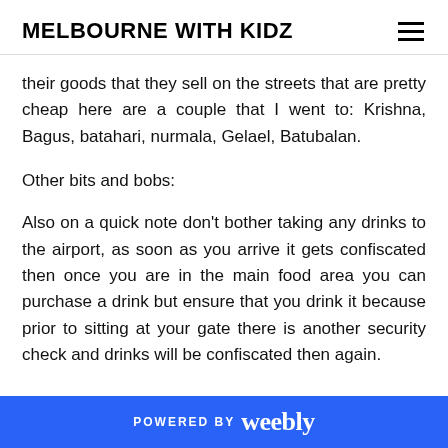MELBOURNE WITH KIDZ
their goods that they sell on the streets that are pretty cheap here are a couple that I went to: Krishna, Bagus, batahari, nurmala, Gelael, Batubalan.
Other bits and bobs:
Also on a quick note don't bother taking any drinks to the airport, as soon as you arrive it gets confiscated then once you are in the main food area you can purchase a drink but ensure that you drink it because prior to sitting at your gate there is another security check and drinks will be confiscated then again.
POWERED BY weebly